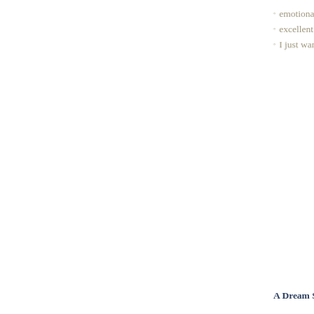emotional wreckage
excellent representa
I just want to go liv
A Dream So Dark by L.L.